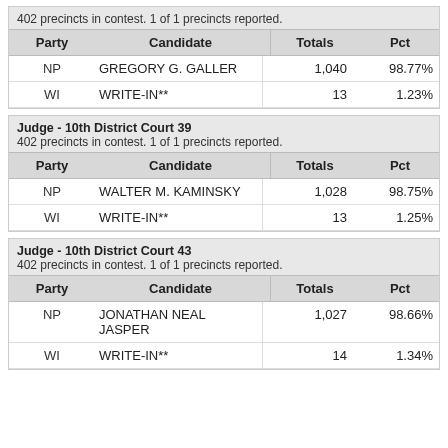402 precincts in contest. 1 of 1 precincts reported.
| Party | Candidate | Totals | Pct |
| --- | --- | --- | --- |
| NP | GREGORY G. GALLER | 1,040 | 98.77% |
| WI | WRITE-IN** | 13 | 1.23% |
Judge - 10th District Court 39
402 precincts in contest. 1 of 1 precincts reported.
| Party | Candidate | Totals | Pct |
| --- | --- | --- | --- |
| NP | WALTER M. KAMINSKY | 1,028 | 98.75% |
| WI | WRITE-IN** | 13 | 1.25% |
Judge - 10th District Court 43
402 precincts in contest. 1 of 1 precincts reported.
| Party | Candidate | Totals | Pct |
| --- | --- | --- | --- |
| NP | JONATHAN NEAL JASPER | 1,027 | 98.66% |
| WI | WRITE-IN** | 14 | 1.34% |